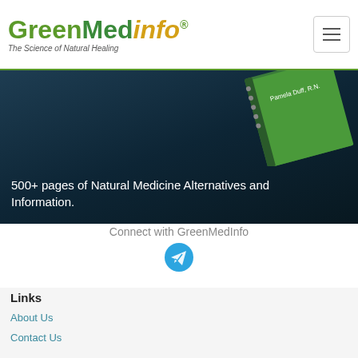GreenMedInfo — The Science of Natural Healing
[Figure (screenshot): Website header with GreenMedInfo logo and hamburger menu button]
Select Language
[Figure (photo): Dark blue background hero image with a book cover showing 'Pamela Duff, R.N.']
500+ pages of Natural Medicine Alternatives and Information.
Connect with GreenMedInfo
[Figure (illustration): Telegram messenger icon (blue circle with white paper plane)]
Links
About Us
Contact Us